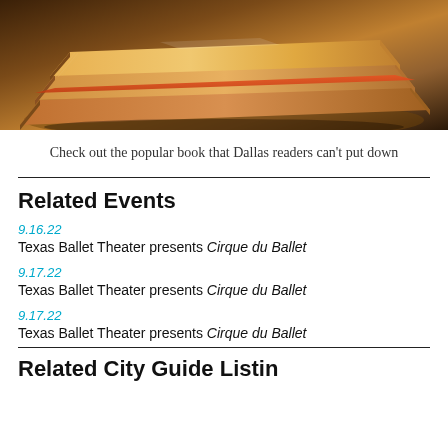[Figure (photo): Stack of books with warm amber/orange tones photographed from above at an angle on a wooden surface]
Check out the popular book that Dallas readers can't put down
Related Events
9.16.22
Texas Ballet Theater presents Cirque du Ballet
9.17.22
Texas Ballet Theater presents Cirque du Ballet
9.17.22
Texas Ballet Theater presents Cirque du Ballet
Related City Guide Listings